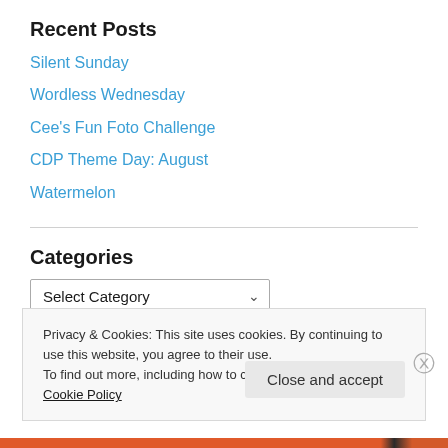Recent Posts
Silent Sunday
Wordless Wednesday
Cee's Fun Foto Challenge
CDP Theme Day: August
Watermelon
Categories
Select Category (dropdown)
Privacy & Cookies: This site uses cookies. By continuing to use this website, you agree to their use. To find out more, including how to control cookies, see here: Cookie Policy
Close and accept